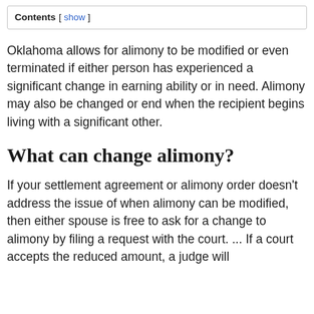Contents [ show ]
Oklahoma allows for alimony to be modified or even terminated if either person has experienced a significant change in earning ability or in need. Alimony may also be changed or end when the recipient begins living with a significant other.
What can change alimony?
If your settlement agreement or alimony order doesn't address the issue of when alimony can be modified, then either spouse is free to ask for a change to alimony by filing a request with the court. ... If a court accepts the reduced amount, a judge will